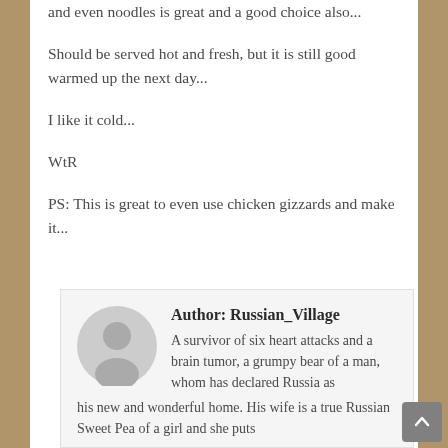and even noodles is great and a good choice also...
Should be served hot and fresh, but it is still good warmed up the next day...
I like it cold...
WtR
PS: This is great to even use chicken gizzards and make it...
Author: Russian_Village
A survivor of six heart attacks and a brain tumor, a grumpy bear of a man, whom has declared Russia as his new and wonderful home. His wife is a true Russian Sweet Pea of a girl and she puts